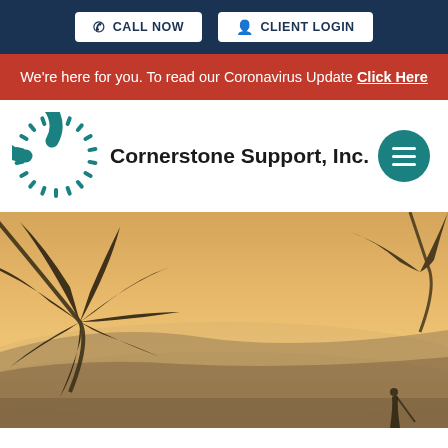CALL NOW  CLIENT LOGIN
We're here for you. To read our Coronavirus Update Click Here
[Figure (logo): Cornerstone Support, Inc. logo with teal gear/sunburst C icon and company name, plus teal hamburger menu button]
[Figure (photo): Sunset beach scene with palm tree fronds in foreground, warm golden-orange sky and hazy horizon in background, silhouette of person visible at bottom right]